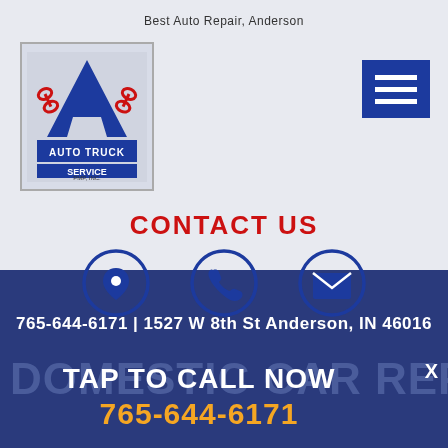Best Auto Repair, Anderson
[Figure (logo): Auto Truck Service PMP, INC. logo with letter A and wrench]
[Figure (infographic): Blue hamburger menu button with three white horizontal bars]
CONTACT US
[Figure (infographic): Three circular icons: location pin, phone, and email envelope]
765-644-6171 | 1527 W 8th St Anderson, IN 46016
DOMESTIC CAR REPAIR
TAP TO CALL NOW
765-644-6171